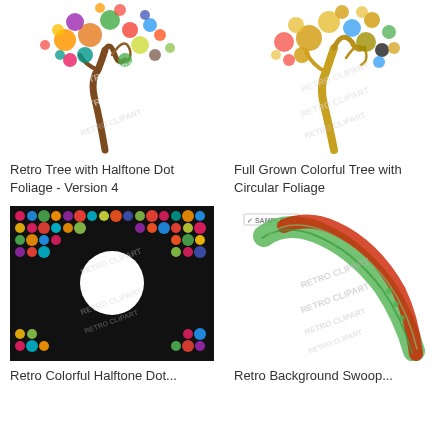[Figure (illustration): Retro tree with colorful halftone dot foliage in multicolored circles, brown swirling trunk, watermark text RETRO CLIPART]
Retro Tree with Halftone Dot Foliage - Version 4
[Figure (illustration): Full grown colorful tree with gold/brown trunk and circular foliage in multicolored dots, watermark text RETRO CLIPART]
Full Grown Colorful Tree with Circular Foliage
[Figure (illustration): Retro colorful halftone dot pattern background resembling a vinyl record with white circle in center, watermark text RETRO CLIPART]
Retro Colorful Halftone Dot...
[Figure (illustration): Retro background with green and red swooping brush stroke lines, sample text label, watermark text RETRO CLIPART]
Retro Background Swoop...